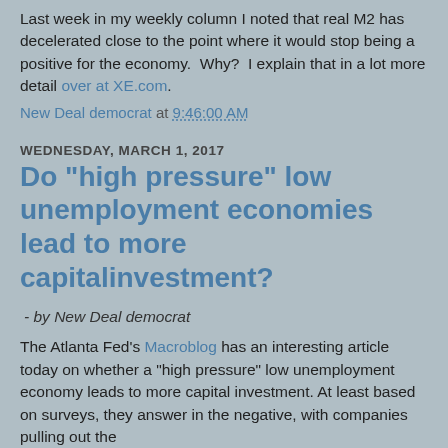Last week in my weekly column I noted that real M2 has decelerated close to the point where it would stop being a positive for the economy.  Why?  I explain that in a lot more detail over at XE.com.
New Deal democrat at 9:46:00 AM
WEDNESDAY, MARCH 1, 2017
Do "high pressure" low unemployment economies lead to more capitalinvestment?
- by New Deal democrat
The Atlanta Fed's Macroblog has an interesting article today on whether a "high pressure" low unemployment economy leads to more capital investment. At least based on surveys, they answer in the negative, with companies pulling out the